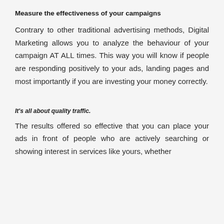Measure the effectiveness of your campaigns
Contrary to other traditional advertising methods, Digital Marketing allows you to analyze the behaviour of your campaign AT ALL times. This way you will know if people are responding positively to your ads, landing pages and most importantly if you are investing your money correctly.
It's all about quality traffic.
The results offered so effective that you can place your ads in front of people who are actively searching or showing interest in services like yours, whether